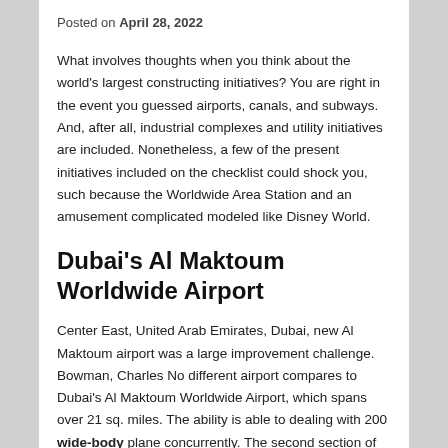Posted on April 28, 2022
What involves thoughts when you think about the world's largest constructing initiatives? You are right in the event you guessed airports, canals, and subways. And, after all, industrial complexes and utility initiatives are included. Nonetheless, a few of the present initiatives included on the checklist could shock you, such because the Worldwide Area Station and an amusement complicated modeled like Disney World.
Dubai's Al Maktoum Worldwide Airport
Center East, United Arab Emirates, Dubai, new Al Maktoum airport was a large improvement challenge. Bowman, Charles No different airport compares to Dubai's Al Maktoum Worldwide Airport, which spans over 21 sq. miles. The ability is able to dealing with 200 wide-body plane concurrently. The second section of the airport's